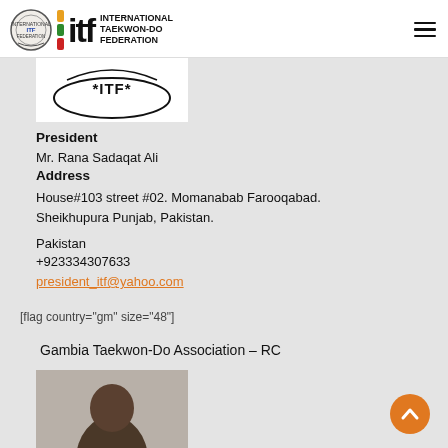International Taekwon-Do Federation
[Figure (logo): ITF (International Taekwon-Do Federation) logo with circular emblem and colored bars]
[Figure (logo): ITF stamp/seal with text *ITF*]
President
Mr. Rana Sadaqat Ali
Address
House#103 street #02. Momanabab Farooqabad. Sheikhupura Punjab, Pakistan.
Pakistan
+923334307633
president_itf@yahoo.com
[flag country="gm" size="48"]
Gambia Taekwon-Do Association – RC
[Figure (photo): Portrait photo of a person, partially visible (head/top)]